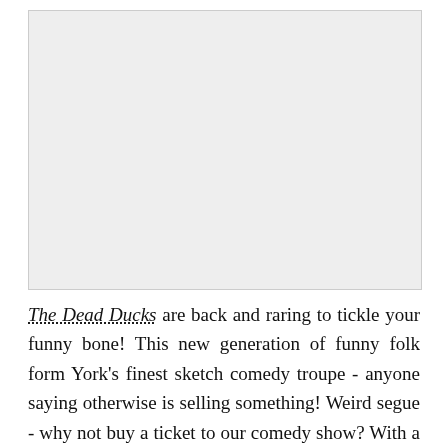[Figure (other): Large light grey rectangular placeholder image area]
The Dead Ducks are back and raring to tickle your funny bone! This new generation of funny folk form York's finest sketch comedy troupe - anyone saying otherwise is selling something! Weird segue - why not buy a ticket to our comedy show? With a variety of